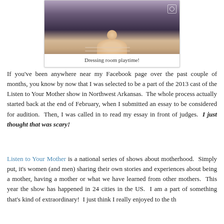[Figure (photo): A cropped photo of a woman wearing a dark navy top and pearl necklace, taking a dressing room selfie]
Dressing room playtime!
If you've been anywhere near my Facebook page over the past couple of months, you know by now that I was selected to be a part of the 2013 cast of the Listen to Your Mother show in Northwest Arkansas.  The whole process actually started back at the end of February, when I submitted an essay to be considered for audition.  Then, I was called in to read my essay in front of judges.  I just thought that was scary!
Listen to Your Mother is a national series of shows about motherhood.  Simply put, it's women (and men) sharing their own stories and experiences about being a mother, having a mother or what we have learned from other mothers.  This year the show has happened in 24 cities in the US.  I am a part of something that's kind of extraordinary!  I just think I really enjoyed to the th